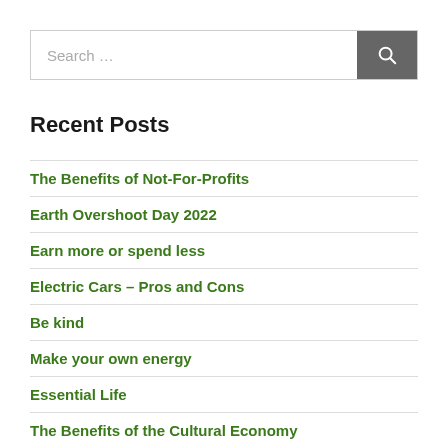[Figure (screenshot): Search input bar with placeholder text 'Search ...' and a dark grey search button with magnifying glass icon]
Recent Posts
The Benefits of Not-For-Profits
Earth Overshoot Day 2022
Earn more or spend less
Electric Cars – Pros and Cons
Be kind
Make your own energy
Essential Life
The Benefits of the Cultural Economy